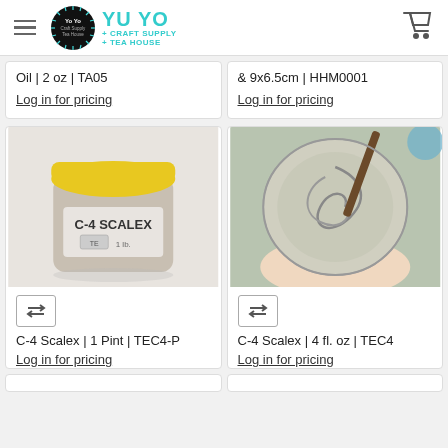YU YO + CRAFT SUPPLY + TEA HOUSE
Oil | 2 oz | TA05
Log in for pricing
& 9x6.5cm | HHM0001
Log in for pricing
[Figure (photo): Jar of C-4 Scalex product with yellow lid, label reads C-4 SCALEX]
C-4 Scalex | 1 Pint | TEC4-P
Log in for pricing
[Figure (photo): Open glass jar of gray clay/compound being stirred with a tool, viewed from above, held in a hand]
C-4 Scalex | 4 fl. oz | TEC4
Log in for pricing